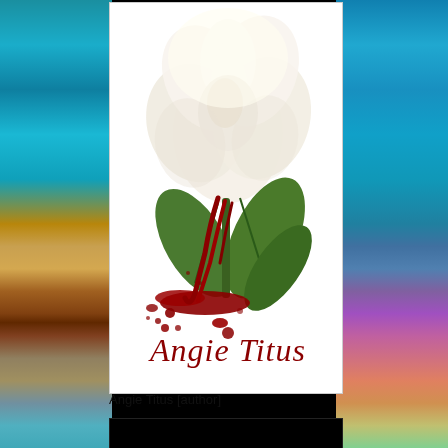[Figure (photo): Book cover image: white rose with dark red blood drips on white background, author name 'Angie Titus' in dark red cursive script at bottom right]
Angie Titus [author]
[Figure (logo): Black background with green glowing stylized crown/wing logo mark at center bottom]